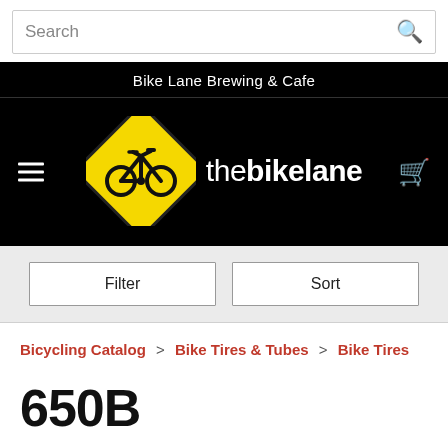Search
Bike Lane Brewing & Cafe
[Figure (logo): The Bike Lane logo: yellow diamond road sign with bicycle symbol, beside white text 'thebikelane']
Filter   Sort
Bicycling Catalog > Bike Tires & Tubes > Bike Tires
650B